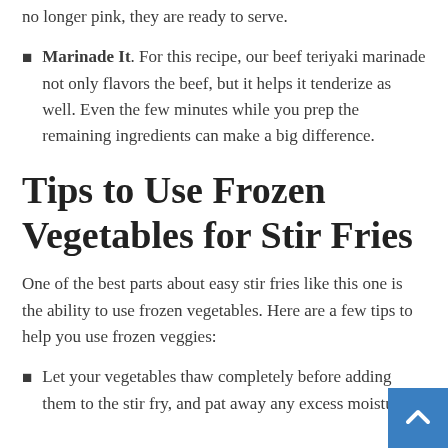no longer pink, they are ready to serve.
Marinade It. For this recipe, our beef teriyaki marinade not only flavors the beef, but it helps it tenderize as well. Even the few minutes while you prep the remaining ingredients can make a big difference.
Tips to Use Frozen Vegetables for Stir Fries
One of the best parts about easy stir fries like this one is the ability to use frozen vegetables. Here are a few tips to help you use frozen veggies:
Let your vegetables thaw completely before adding them to the stir fry, and pat away any excess moisture.